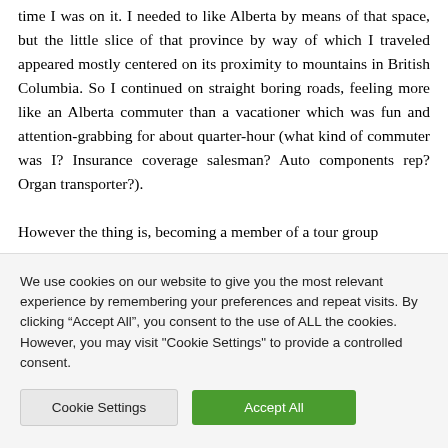time I was on it. I needed to like Alberta by means of that space, but the little slice of that province by way of which I traveled appeared mostly centered on its proximity to mountains in British Columbia. So I continued on straight boring roads, feeling more like an Alberta commuter than a vacationer which was fun and attention-grabbing for about quarter-hour (what kind of commuter was I? Insurance coverage salesman? Auto components rep? Organ transporter?).

However the thing is, becoming a member of a tour group
We use cookies on our website to give you the most relevant experience by remembering your preferences and repeat visits. By clicking “Accept All”, you consent to the use of ALL the cookies. However, you may visit "Cookie Settings" to provide a controlled consent.